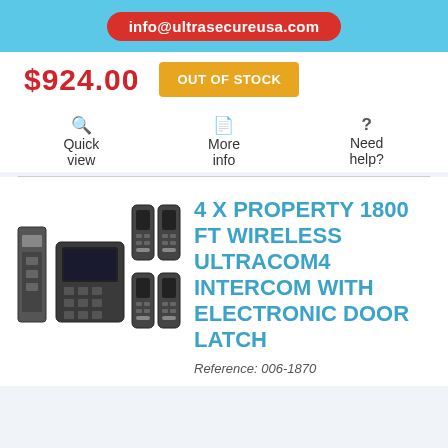info@ultrasecureusa.com
$924.00
OUT OF STOCK
Quick view
More info
Need help?
[Figure (photo): Product photo showing intercom system components: a base unit, keypad, and four wireless handsets]
4 X PROPERTY 1800 FT WIRELESS ULTRACOM4 INTERCOM WITH ELECTRONIC DOOR LATCH
Reference: 006-1870